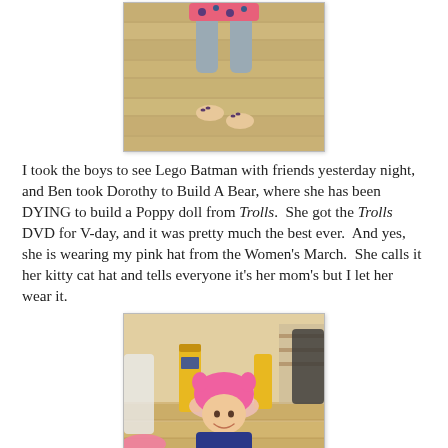[Figure (photo): Child sitting on a hardwood floor, barefoot, viewed from above.]
I took the boys to see Lego Batman with friends yesterday night, and Ben took Dorothy to Build A Bear, where she has been DYING to build a Poppy doll from Trolls.  She got the Trolls DVD for V-day, and it was pretty much the best ever.  And yes, she is wearing my pink hat from the Women's March.  She calls it her kitty cat hat and tells everyone it's her mom's but I let her wear it.
[Figure (photo): Young girl wearing a pink knit hat inside a Build-A-Bear store, smiling at the camera.]